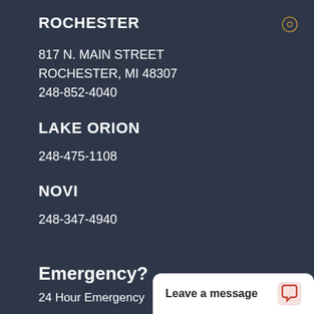ROCHESTER
817 N. MAIN STREET
ROCHESTER, MI 48307
248-852-4040
LAKE ORION
248-475-1108
NOVI
248-347-4940
Emergency?
24 Hour Emergency
Leave a message